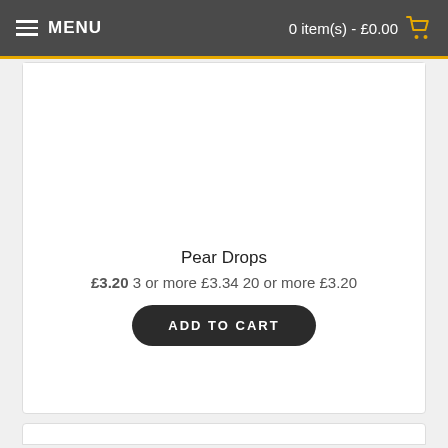MENU  0 item(s) - £0.00
Pear Drops
£3.20 3 or more £3.34 20 or more £3.20
ADD TO CART